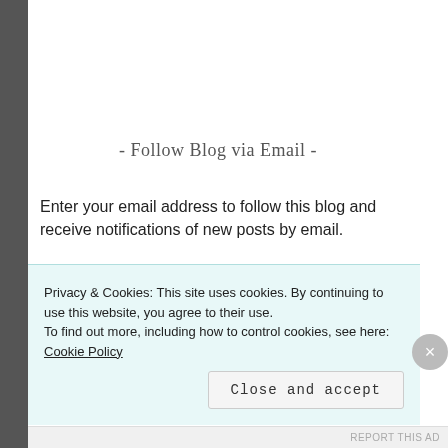- Follow Blog via Email -
Enter your email address to follow this blog and receive notifications of new posts by email.
Email Address
FOLLOW
Privacy & Cookies: This site uses cookies. By continuing to use this website, you agree to their use.
To find out more, including how to control cookies, see here: Cookie Policy
Close and accept
REPORT THIS AD